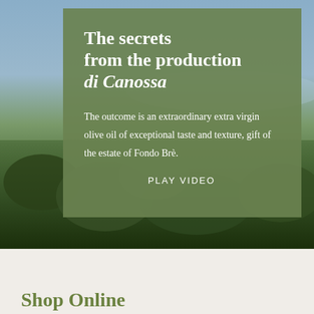[Figure (photo): Landscape photograph showing an olive grove or rural estate with green vegetation in the foreground, water or lake in the middle distance, and sky at the top. A large green semi-transparent overlay box covers the upper-center portion of the image.]
The secrets from the production di Canossa
The outcome is an extraordinary extra virgin olive oil of exceptional taste and texture, gift of the estate of Fondo Brè.
PLAY VIDEO
Shop Online